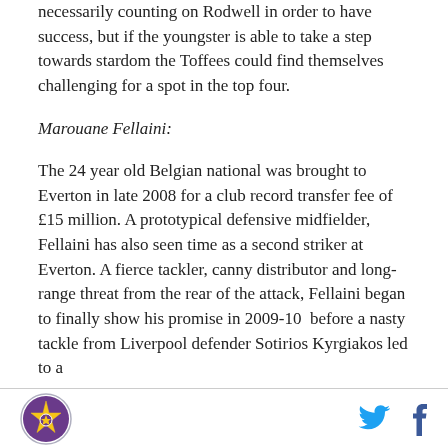necessarily counting on Rodwell in order to have success, but if the youngster is able to take a step towards stardom the Toffees could find themselves challenging for a spot in the top four.
Marouane Fellaini:
The 24 year old Belgian national was brought to Everton in late 2008 for a club record transfer fee of £15 million. A prototypical defensive midfielder, Fellaini has also seen time as a second striker at Everton. A fierce tackler, canny distributor and long-range threat from the rear of the attack, Fellaini began to finally show his promise in 2009-10  before a nasty tackle from Liverpool defender Sotirios Kyrgiakos led to a
Logo and social icons